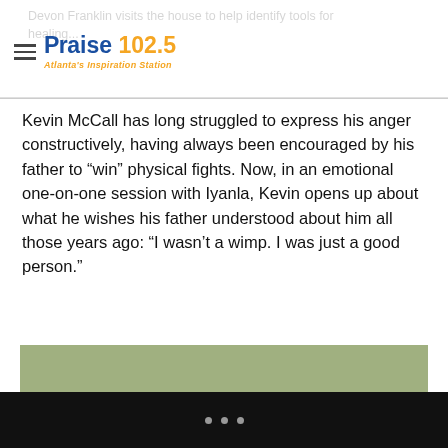Praise 102.5 — Atlanta's Inspiration Station
Devon Franklin visits the house to help identify tools for healing...
Kevin McCall has long struggled to express his anger constructively, having always been encouraged by his father to “win” physical fights. Now, in an emotional one-on-one session with Iyanla, Kevin opens up about what he wishes his father understood about him all those years ago: “I wasn’t a wimp. I was just a good person.”
[Figure (photo): Group of people standing in a circle outdoors, appearing to be in conversation. Several men and a woman in a red shirt are gathered near a vehicle in a parking area with trees in the background.]
• • •